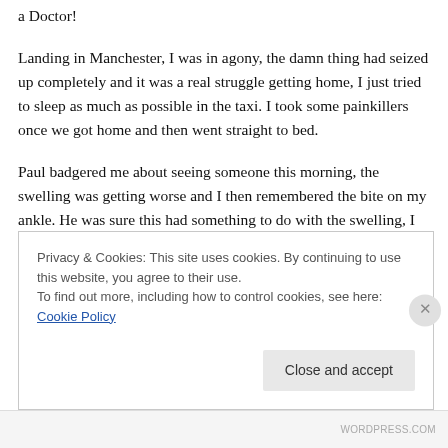a Doctor!
Landing in Manchester, I was in agony, the damn thing had seized up completely and it was a real struggle getting home, I just tried to sleep as much as possible in the taxi. I took some painkillers once we got home and then went straight to bed.
Paul badgered me about seeing someone this morning, the swelling was getting worse and I then remembered the bite on my ankle. He was sure this had something to do with the swelling, I had to agree at this stage, (I'm not
Privacy & Cookies: This site uses cookies. By continuing to use this website, you agree to their use.
To find out more, including how to control cookies, see here: Cookie Policy
Close and accept